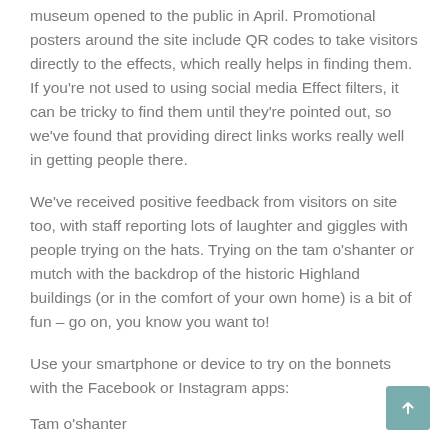museum opened to the public in April. Promotional posters around the site include QR codes to take visitors directly to the effects, which really helps in finding them. If you're not used to using social media Effect filters, it can be tricky to find them until they're pointed out, so we've found that providing direct links works really well in getting people there.
We've received positive feedback from visitors on site too, with staff reporting lots of laughter and giggles with people trying on the hats. Trying on the tam o'shanter or mutch with the backdrop of the historic Highland buildings (or in the comfort of your own home) is a bit of fun – go on, you know you want to!
Use your smartphone or device to try on the bonnets with the Facebook or Instagram apps:
Tam o'shanter